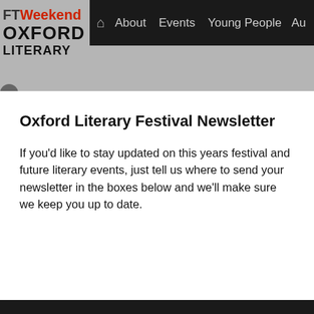[Figure (screenshot): Website header with FT Weekend Oxford Literary Festival logo on grey background on the left, and a black navigation bar with home icon, About, Events, Young People, Au... links on the right]
Oxford Literary Festival Newsletter
If you'd like to stay updated on this years festival and future literary events, just tell us where to send your newsletter in the boxes below and we'll make sure we keep you up to date.